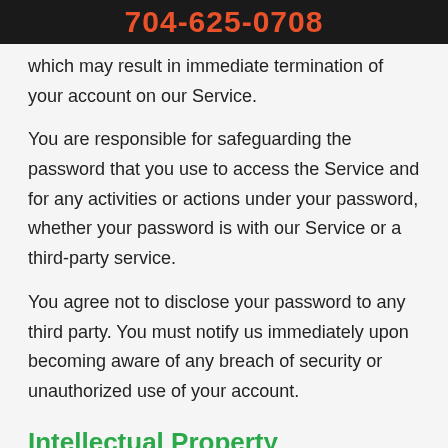704-625-0708
which may result in immediate termination of your account on our Service.
You are responsible for safeguarding the password that you use to access the Service and for any activities or actions under your password, whether your password is with our Service or a third-party service.
You agree not to disclose your password to any third party. You must notify us immediately upon becoming aware of any breach of security or unauthorized use of your account.
Intellectual Property
The Service and its original content, features and functionality are and will remain the exclusive property of The Offices At LLC and its licensors.